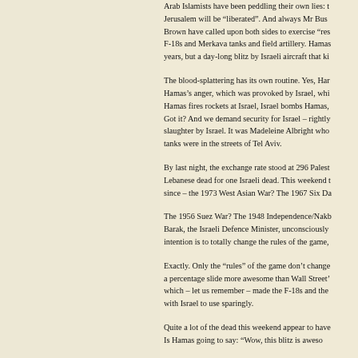Arab Islamists have been peddling their own lies: t... Jerusalem will be “liberated”. And always Mr Bus... Brown have called upon both sides to exercise “res... F-18s and Merkava tanks and field artillery. Hamas... years, but a day-long blitz by Israeli aircraft that ki...
The blood-splattering has its own routine. Yes, Har... Hamas’s anger, which was provoked by Israel, whi... Hamas fires rockets at Israel, Israel bombs Hamas,... Got it? And we demand security for Israel – rightly... slaughter by Israel. It was Madeleine Albright who... tanks were in the streets of Tel Aviv.
By last night, the exchange rate stood at 296 Palest... Lebanese dead for one Israeli dead. This weekend t... since – the 1973 West Asian War? The 1967 Six Da...
The 1956 Suez War? The 1948 Independence/Nakb... Barak, the Israeli Defence Minister, unconsciously... intention is to totally change the rules of the game,...
Exactly. Only the “rules” of the game don’t change... a percentage slide more awesome than Wall Street’... which – let us remember – made the F-18s and the... with Israel to use sparingly.
Quite a lot of the dead this weekend appear to have... Is Hamas going to say: “Wow, this blitz is aweso...